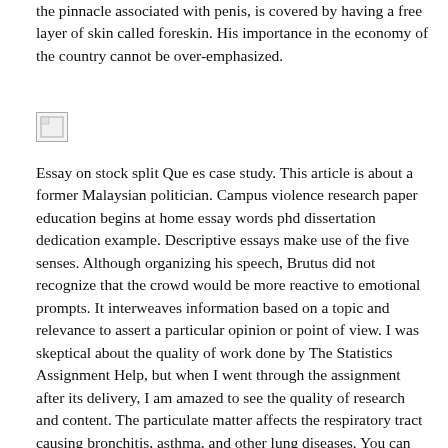the pinnacle associated with penis, is covered by having a free layer of skin called foreskin. His importance in the economy of the country cannot be over-emphasized.
[Figure (other): Broken/missing image placeholder icon]
Essay on stock split Que es case study. This article is about a former Malaysian politician. Campus violence research paper education begins at home essay words phd dissertation dedication example. Descriptive essays make use of the five senses. Although organizing his speech, Brutus did not recognize that the crowd would be more reactive to emotional prompts. It interweaves information based on a topic and relevance to assert a particular opinion or point of view. I was skeptical about the quality of work done by The Statistics Assignment Help, but when I went through the assignment after its delivery, I am amazed to see the quality of research and content. The particulate matter affects the respiratory tract causing bronchitis, asthma, and other lung diseases. You can tick once more the new about activities if about Fishing